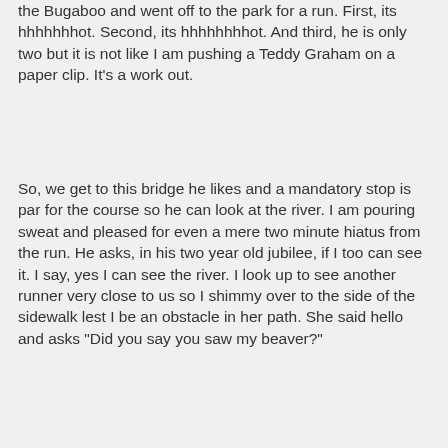the Bugaboo and went off to the park for a run. First, its hhhhhhhot. Second, its hhhhhhhhot. And third, he is only two but it is not like I am pushing a Teddy Graham on a paper clip. It's a work out.
So, we get to this bridge he likes and a mandatory stop is par for the course so he can look at the river. I am pouring sweat and pleased for even a mere two minute hiatus from the run. He asks, in his two year old jubilee, if I too can see it. I say, yes I can see the river. I look up to see another runner very close to us so I shimmy over to the side of the sidewalk lest I be an obstacle in her path. She said hello and asks "Did you say you saw my beaver?"
[Figure (photo): Close-up photo of a beaver's face viewed from above, the animal appears to be in water, showing its dark fur, small eyes, and distinctive nose.]